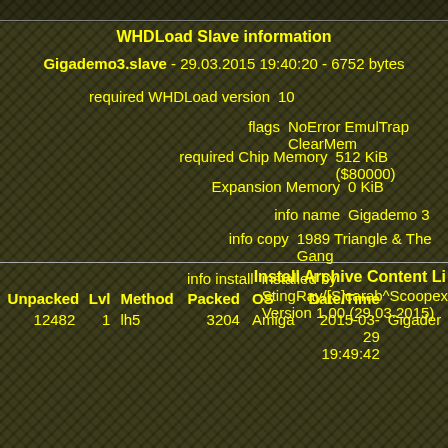WHDLoad Slave information
Gigademo3.slave - 29.03.2015 19:40:20 - 6752 bytes
required WHDLoad version  10
flags  NoError EmulTrap ClearMem
required Chip Memory  512 KiB ($80000)
Expansion Memory  0 KiB
info name  Gigademo 3
info copy  1989 Triangle & The Gang
info install  installed by StingRay/[S]carab^Scoopex Version 1.00 (29.03.2015)
Install Archive Content Li
| Unpacked | Lvl | Method | Packed | OS | Date/Time |  |
| --- | --- | --- | --- | --- | --- | --- |
| 12482 | 1 | lh5 | 3204 | Amiga | 2015-03-29
19:49:42 | Gigader |